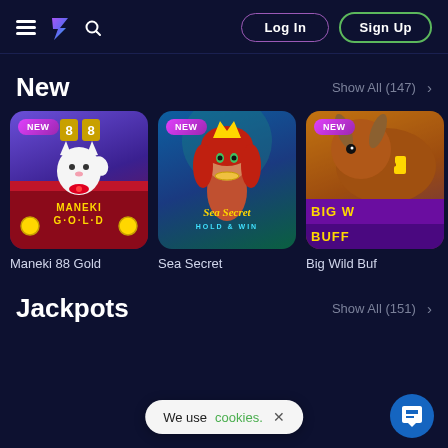Log In | Sign Up
New
Show All (147) >
[Figure (screenshot): Game thumbnail: Maneki 88 Gold slot game with lucky cat and golden coins on purple/red background, NEW badge]
Maneki 88 Gold
[Figure (screenshot): Game thumbnail: Sea Secret Hold & Win slot game with mermaid character on blue/teal background, NEW badge]
Sea Secret
[Figure (screenshot): Game thumbnail: Big Wild Buffalo slot game with buffalo on golden/purple background, NEW badge, partially cropped]
Big Wild Buf
Jackpots
Show All (151) >
We use cookies. ×